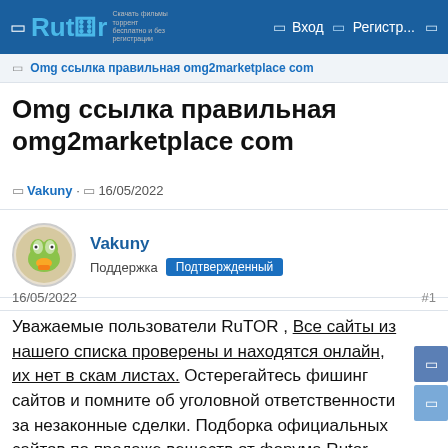Rutor | Вход | Регистр...
Omg ссылка правильная omg2marketplace com
Omg ссылка правильная omg2marketplace com
Vakuny · 16/05/2022
Vakuny
Поддержка Подтвержденный
16/05/2022
#1
Уважаемые пользователи RuTOR , Все сайты из нашего списка проверены и находятся онлайн, их нет в скам листах. Остерегайтесь фишинг сайтов и помните об уголовной ответственности за незаконные сделки. Подборка официальных сайтов по продаже веществ от форума Rutor